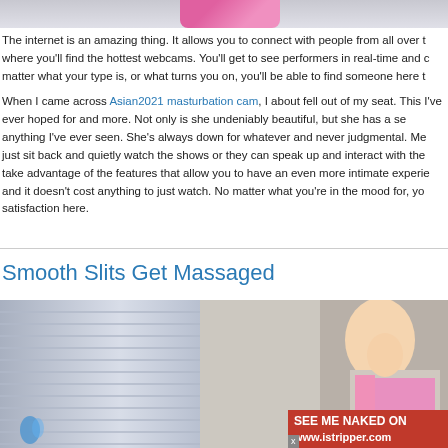[Figure (photo): Partial top image, pink/magenta color accent visible at top of page]
The internet is an amazing thing. It allows you to connect with people from all over t where you'll find the hottest webcams. You'll get to see performers in real-time and matter what your type is, or what turns you on, you'll be able to find someone here t
When I came across Asian2021 masturbation cam, I about fell out of my seat. This I've ever hoped for and more. Not only is she undeniably beautiful, but she has a se anything I've ever seen. She's always down for whatever and never judgmental. Me just sit back and quietly watch the shows or they can speak up and interact with the take advantage of the features that allow you to have an even more intimate experie and it doesn't cost anything to just watch. No matter what you're in the mood for, yo satisfaction here.
Smooth Slits Get Massaged
[Figure (photo): Two photos side by side: left shows venetian blinds close-up, right shows a blonde woman in pink lingerie on a couch with an istripper.com advertisement banner overlay]